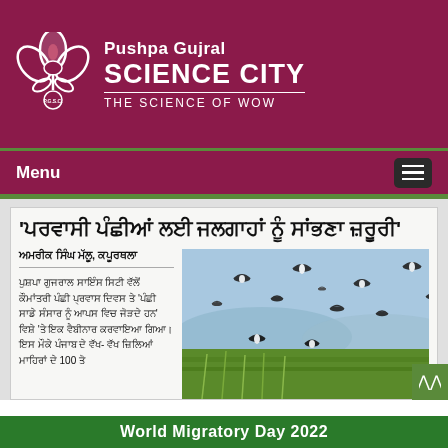Pushpa Gujral SCIENCE CITY — THE SCIENCE OF WOW
[Figure (logo): Pushpa Gujral Science City logo — white floral/leaf emblem with P.G.S.C. text on maroon background]
'ਪਰਵਾਸੀ ਪੰਛੀਆਂ ਲਈ ਜਲਗਾਹਾਂ ਨੂੰ ਸਾਂਭਣਾ ਜ਼ਰੂਰੀ'
ਅਮਰੀਕ ਸਿੰਘ ਮੱਲੂ, ਕਪੂਰਥਲਾ
ਪੁਸ਼ਪਾ ਗੁਜਰਾਲ ਸਾਇੰਸ ਸਿਟੀ ਵੱਲੋਂ ਕੌਮਾਂਤਰੀ ਪੰਛੀ ਪ੍ਰਵਾਸ ਦਿਵਸ ਤੇ 'ਪੰਛੀ ਸਾਡੇ ਸੰਸਾਰ ਨੂੰ ਆਪਸ ਵਿਚ ਜੋੜਦੇ ਹਨ' ਵਿਸ਼ੇ 'ਤੇ ਇਕ ਵੈਬੀਨਾਰ ਕਰਵਾਇਆ ਗਿਆ। ਇਸ ਮੌਕੇ ਪੰਜਾਬ ਦੇ ਵੱਖ- ਵੱਖ ਜ਼ਿਲਿਆਂ ਮਾਹਿਰਾਂ ਦੇ 100 ਤੋ
[Figure (photo): Flock of migratory birds (lapwings/plovers) flying over and among green rice/wheat field crops against a blue sky]
World Migratory Day 2022